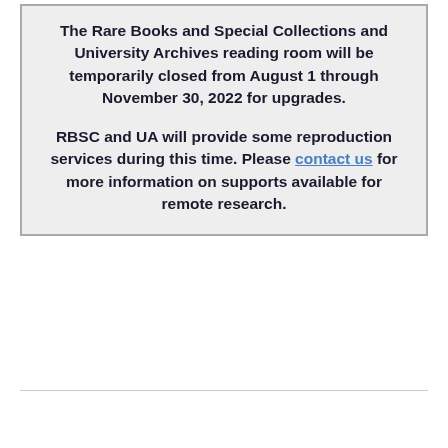The Rare Books and Special Collections and University Archives reading room will be temporarily closed from August 1 through November 30, 2022 for upgrades.

RBSC and UA will provide some reproduction services during this time. Please contact us for more information on supports available for remote research.